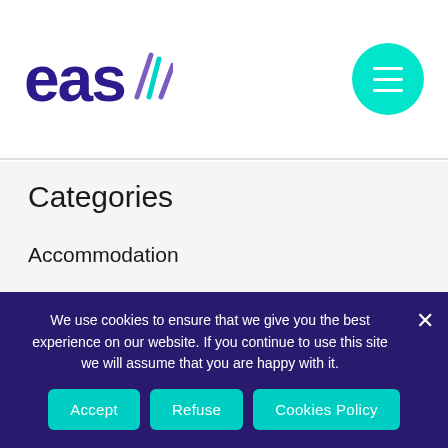[Figure (logo): EAS logo with stylized signal lines in teal and purple]
Categories
Accommodation
Barcelona
Beach Clubs Cannes
Business travel tips
Cannes
We use cookies to ensure that we give you the best experience on our website. If you continue to use this site we will assume that you are happy with it.
Accept | Refuse | Cookies Policy